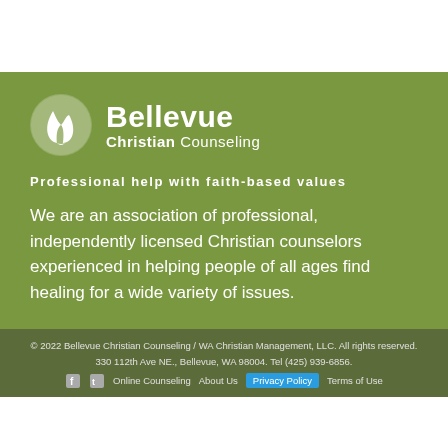[Figure (logo): Bellevue Christian Counseling logo with white leaf/flame icon on green background and text 'Bellevue Christian Counseling']
Professional help with faith-based values
We are an association of professional, independently licensed Christian counselors experienced in helping people of all ages find healing for a wide variety of issues.
© 2022 Bellevue Christian Counseling / WA Christian Management, LLC. All rights reserved.
330 112th Ave NE., Bellevue, WA 98004. Tel (425) 939-6856.
Online Counseling  About Us  Privacy Policy  Terms of Use